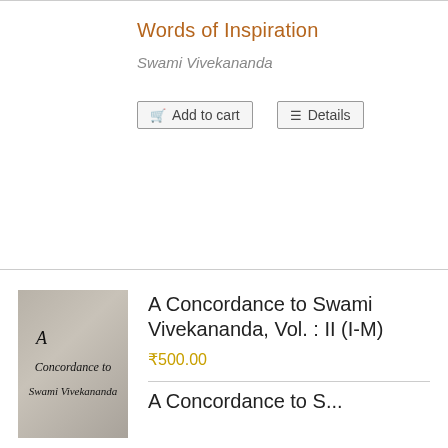Words of Inspiration
Swami Vivekananda
Add to cart   Details
[Figure (photo): Book cover image of 'A Concordance to Swami Vivekananda' with textured gray background and italic text]
A Concordance to Swami Vivekananda, Vol. : II (I-M)
₹500.00